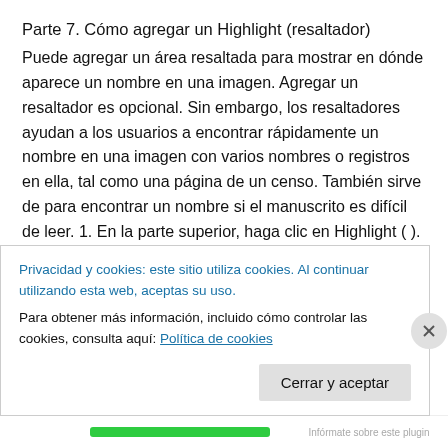Parte 7. Cómo agregar un Highlight (resaltador)
Puede agregar un área resaltada para mostrar en dónde aparece un nombre en una imagen. Agregar un resaltador es opcional. Sin embargo, los resaltadores ayudan a los usuarios a encontrar rápidamente un nombre en una imagen con varios nombres o registros en ella, tal como una página de un censo. También sirve de para encontrar un nombre si el manuscrito es difícil de leer. 1. En la parte superior, haga clic en Highlight ( ).
Aparecerá un área resaltada en el imagen.
Privacidad y cookies: este sitio utiliza cookies. Al continuar utilizando esta web, aceptas su uso.
Para obtener más información, incluido cómo controlar las cookies, consulta aquí: Política de cookies
Cerrar y aceptar